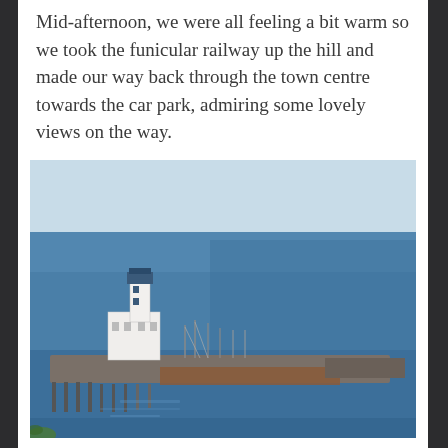Mid-afternoon, we were all feeling a bit warm so we took the funicular railway up the hill and made our way back through the town centre towards the car park, admiring some lovely views on the way.
[Figure (photo): Aerial or elevated view of a harbour pier with a white lighthouse building at the far end, boats and masts visible along the pier, against a blue sea and pale sky.]